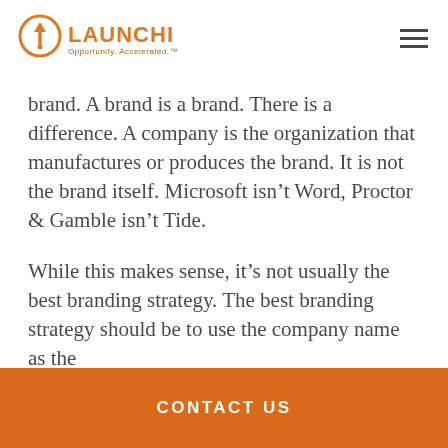LAUNCHI Opportunity Accelerated.
brand. A brand is a brand. There is a difference. A company is the organization that manufactures or produces the brand. It is not the brand itself. Microsoft isn't Word, Proctor & Gamble isn't Tide.
While this makes sense, it's not usually the best branding strategy. The best branding strategy should be to use the company name as the
CONTACT US